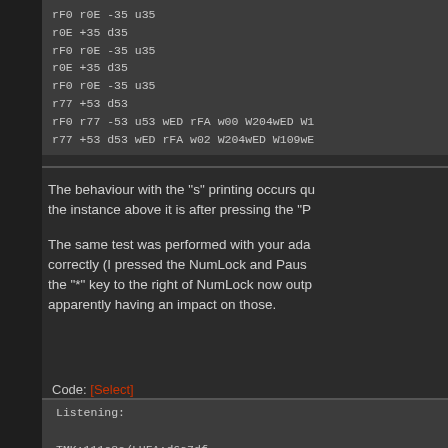[Figure (screenshot): Code block showing assembly/protocol log lines including rF0, r0E, r77 commands with parameters]
The behaviour with the "s" printing occurs qu the instance above it is after pressing the "P
The same test was performed with your ada correctly (I pressed the NumLock and Paus the "*" key to the right of NumLock now outp apparently having an impact on those.
Code: [Select]
[Figure (screenshot): Code block showing: Listening: TMK:111e8c/LUFA:d6a7df USB configured. Loop start. I1209 A4210 wFF rFA 4212 PRT:10 ISR:FE90 rAA W4213 wF2 rFA]